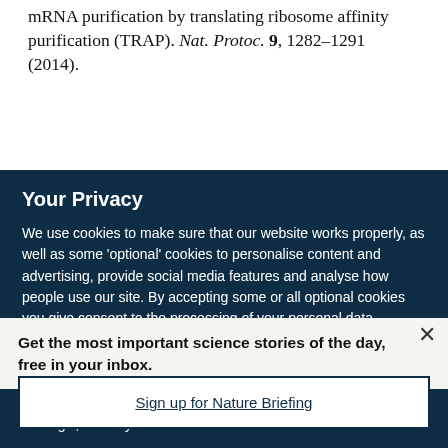mRNA purification by translating ribosome affinity purification (TRAP). Nat. Protoc. 9, 1282–1291 (2014).
Your Privacy
We use cookies to make sure that our website works properly, as well as some 'optional' cookies to personalise content and advertising, provide social media features and analyse how people use our site. By accepting some or all optional cookies you give consent to the processing of your personal data, including transfer to third parties, some in countries outside of the European Economic Area that do not offer the same data protection standards as the country where you live. You can decide which optional cookies to accept by clicking on 'Manage Settings', where you can
Get the most important science stories of the day, free in your inbox.
Sign up for Nature Briefing